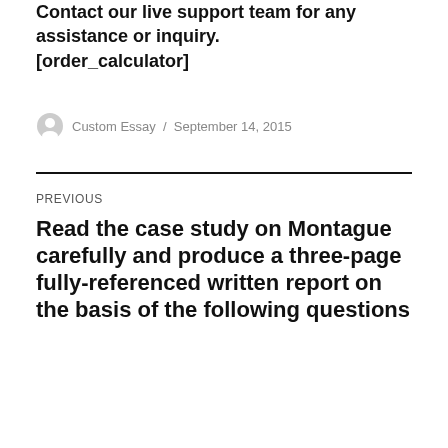Contact our live support team for any assistance or inquiry.
[order_calculator]
Custom Essay / September 14, 2015
PREVIOUS
Read the case study on Montague carefully and produce a three-page fully-referenced written report on the basis of the following questions